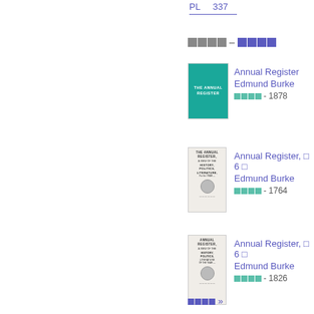PL    337
□□□□ - □□□□
[Figure (illustration): Book cover of The Annual Register, teal colored]
Annual Register
Edmund Burke
□□□□ - 1878
[Figure (illustration): Old book cover - Annual Register, History, Politics, Literature]
Annual Register, □ 6 □
Edmund Burke
□□□□ - 1764
[Figure (illustration): Old book cover - Annual Register, History]
Annual Register, □ 6 □
Edmund Burke
□□□□ - 1826
□□□□ »